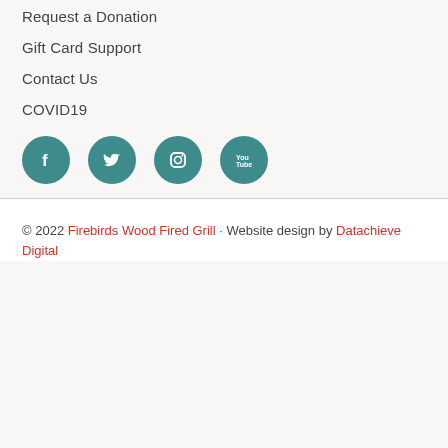Request a Donation
Gift Card Support
Contact Us
COVID19
[Figure (illustration): Four social media icon circles (Facebook, Twitter, Instagram, YouTube) in teal color]
© 2022 Firebirds Wood Fired Grill · Website design by Datachieve Digital